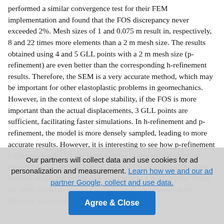performed a similar convergence test for their FEM implementation and found that the FOS discrepancy never exceeded 2%. Mesh sizes of 1 and 0.075 m result in, respectively, 8 and 22 times more elements than a 2 m mesh size. The results obtained using 4 and 5 GLL points with a 2 m mesh size (p-refinement) are even better than the corresponding h-refinement results. Therefore, the SEM is a very accurate method, which may be important for other elastoplastic problems in geomechanics. However, in the context of slope stability, if the FOS is more important than the actual displacements, 3 GLL points are sufficient, facilitating faster simulations. In h-refinement and p-refinement, the model is more densely sampled, leading to more accurate results. However, it is interesting to see how p-refinement influences results for the same number of discretization points (spectral nodes). In practice, it is very difficult to retain the same number of spectral nodes with varying polynomial degree. Using the same model as previously mentioned, we consider three different discretization schemes: (1) 3 GLL
Our partners will collect data and use cookies for ad personalization and measurement. Learn how we and our ad partner Google, collect and use data.